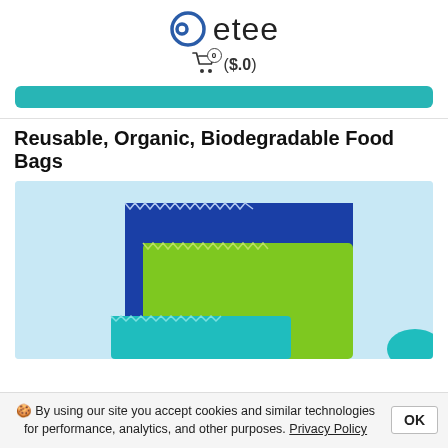etee  🛒 ($.0)
Reusable, Organic, Biodegradable Food Bags
[Figure (photo): Product photo showing three reusable food bags in blue, green, and teal colors on a light blue background, stacked/overlapping to show different sizes.]
🍪 By using our site you accept cookies and similar technologies for performance, analytics, and other purposes. Privacy Policy  OK